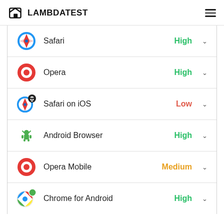LAMBDATEST
Safari — High
Opera — High
Safari on iOS — Low
Android Browser — High
Opera Mobile — Medium
Chrome for Android — High